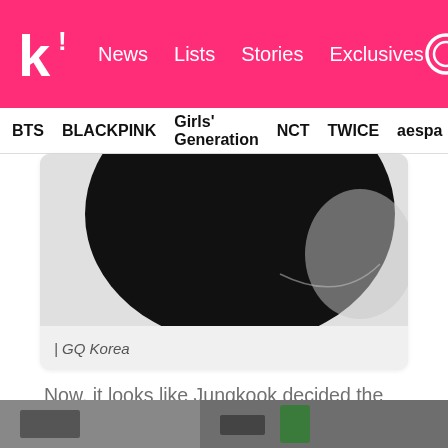k! News Lists Stories Exclusives
BTS   BLACKPINK   Girls' Generation   NCT   TWICE   aespa
[Figure (photo): Dark close-up image with black circular shape against white/grey background, magazine photo from GQ Korea]
| GQ Korea
Now, it looks like Jungkook decided the best thing for ARMYs was to post another video of himself boxing with coach Tommy, and it did indeed send the online community into a tailspin!
[Figure (photo): Bottom partial photo strip showing what appears to be a boxing or gym setting]